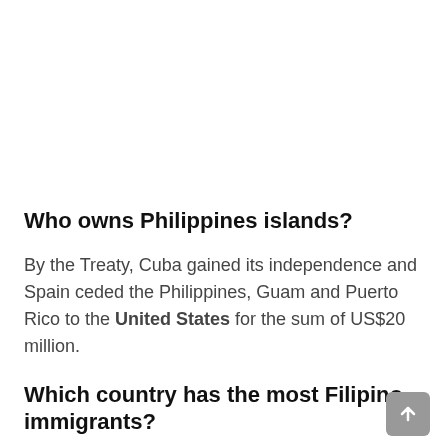Who owns Philippines islands?
By the Treaty, Cuba gained its independence and Spain ceded the Philippines, Guam and Puerto Rico to the United States for the sum of US$20 million.
Which country has the most Filipino immigrants?
The United States is home to by far the largest